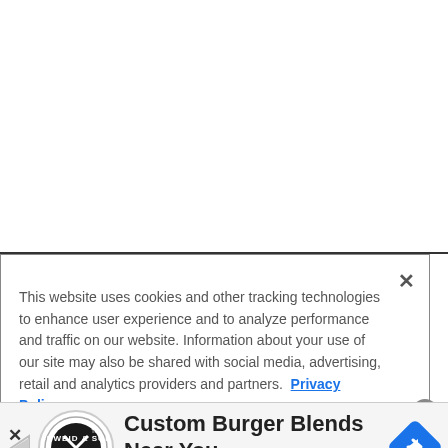This website uses cookies and other tracking technologies to enhance user experience and to analyze performance and traffic on our website. Information about your use of our site may also be shared with social media, advertising, retail and analytics providers and partners. Privacy Policy
[Figure (infographic): Advertisement bar: Schweid & Sons logo (circular stamp), text 'Custom Burger Blends Near You' and 'Schweidandsons.com', blue diamond navigation icon, play button icon, and close X button.]